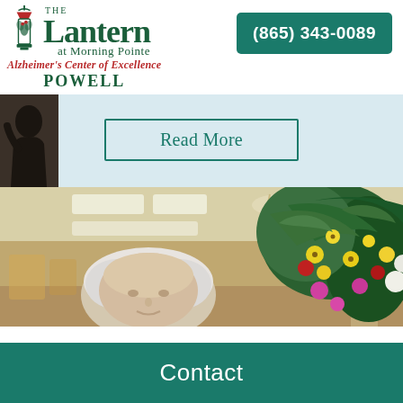[Figure (logo): The Lantern at Morning Pointe Alzheimer's Center of Excellence POWELL logo with lantern icon]
(865) 343-0089
[Figure (photo): Partial view of a person in light blue background section with Read More button]
Read More
[Figure (photo): Elderly person with white hair in a room with a chandelier and colorful flower arrangement]
Contact